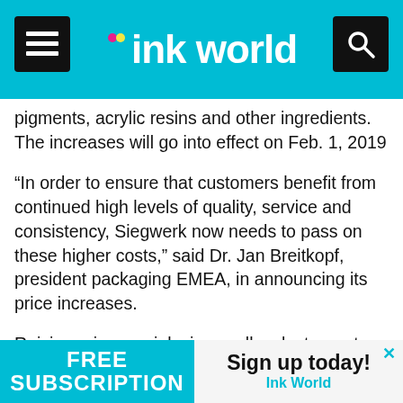ink world
pigments, acrylic resins and other ingredients. The increases will go into effect on Feb. 1, 2019
“In order to ensure that customers benefit from continued high levels of quality, service and consistency, Siegwerk now needs to pass on these higher costs,” said Dr. Jan Breitkopf, president packaging EMEA, in announcing its price increases.
Raising prices on inks is usually a last resort. Companies will typically look at ways to replace scarce or increasingly expensive raw materials in formulations,  but that takes time and requires getting approvals. For ink manufacturers, increasing prices is a necessity as they face higher costs from their own suppliers.
[Figure (infographic): Free Subscription / Sign up today! Ink World advertisement banner at bottom of page]